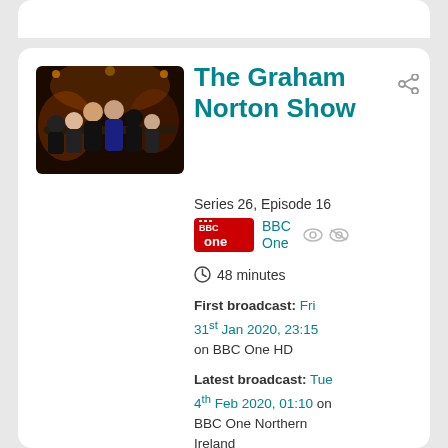[Figure (screenshot): Top card partial - grey rounded card at top of page]
The Graham Norton Show
Series 26, Episode 16
BBC One
48 minutes
First broadcast: Fri 31st Jan 2020, 23:15 on BBC One HD
Latest broadcast: Tue 4th Feb 2020, 01:10 on BBC One Northern Ireland